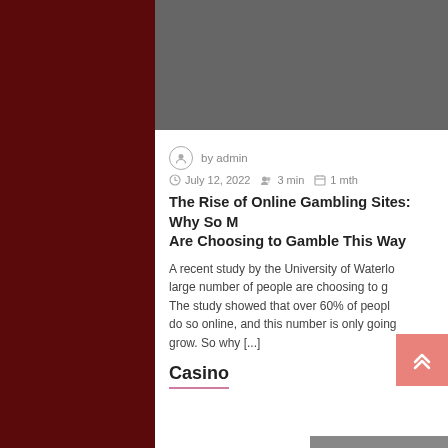[Figure (photo): Gray placeholder hero image at top of article]
by admin
July 12, 2022   3 min   1 mth
The Rise of Online Gambling Sites: Why So Many People Are Choosing to Gamble This Way
A recent study by the University of Waterloo found that a large number of people are choosing to gamble online. The study showed that over 60% of people who gamble do so online, and this number is only going to continue to grow. So why [...]
Casino